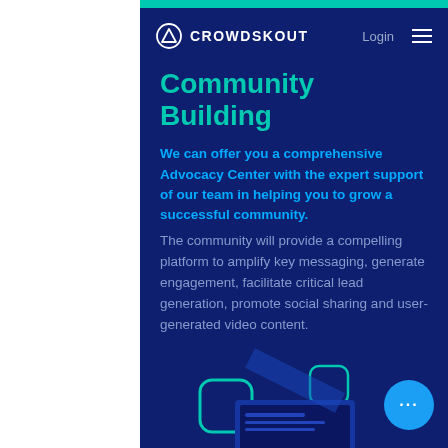[Figure (logo): Crowdskout logo with triangle icon and wordmark in white, Login link, hamburger menu on dark blue navigation bar]
Community Building
We can offer you a comprehensive Advocacy Center with the expert support of our team in helping you to grow a successful community. The community will provide a compelling platform to amplify key messaging, generate engagement, facilitate critical lead generation, promote social sharing and user-generated video content.
[Figure (illustration): Decorative UI illustration at the bottom showing rounded square icons and device screens on dark blue background, with a bright blue circular button with three dots]